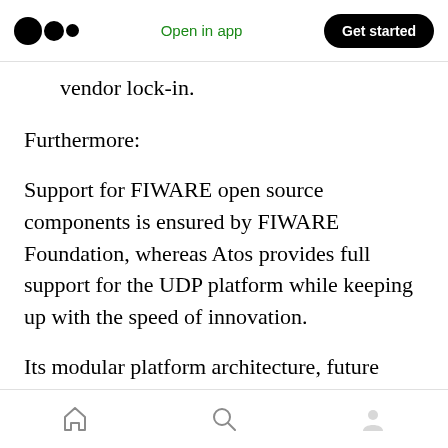Open in app  Get started
vendor lock-in.
Furthermore:
Support for FIWARE open source components is ensured by FIWARE Foundation, whereas Atos provides full support for the UDP platform while keeping up with the speed of innovation.
Its modular platform architecture, future extensions, adaptation to new scenarios, and the addition of new functionality is straightforward.
The platform is also easily scalable and
Home  Search  Profile